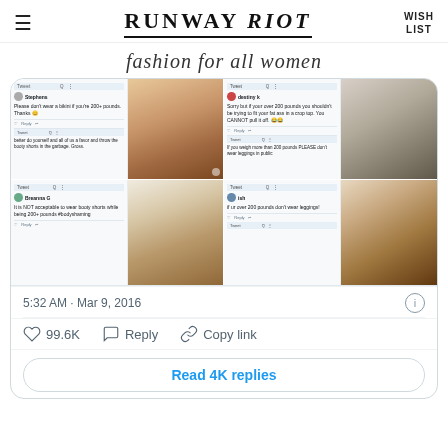RUNWAY RIOT — fashion for all women — WISH LIST
fashion for all women
[Figure (screenshot): Embedded tweet showing a 2x2 grid of paired screenshots: Twitter posts with body-shaming text on the left paired with photos of women's bodies on the right. Four tweet screenshots visible with text about weight and clothing.]
5:32 AM · Mar 9, 2016
99.6K   Reply   Copy link
Read 4K replies